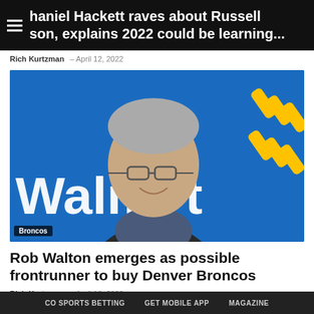haniel Hackett raves about Russell son, explains 2022 could be learning...
Rich Kurtzman — April 12, 2022
[Figure (photo): Older man with glasses smiling in front of a blue Walmart backdrop with the Walmart logo and spark symbol visible. A label 'Broncos' appears in the lower left corner.]
Rob Walton emerges as possible frontrunner to buy Denver Broncos
Rich Kurtzman — April 10, 2022
CO SPORTS BETTING   GET MOBILE APP   MAGAZINE